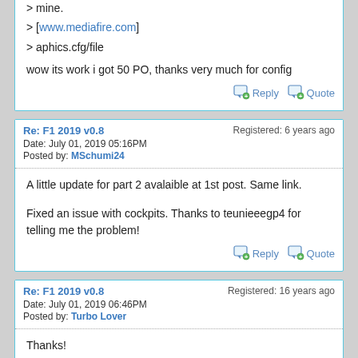> mine.
> [www.mediafire.com]
> aphics.cfg/file
wow its work i got 50 PO, thanks very much for config
Re: F1 2019 v0.8 | Registered: 6 years ago | Date: July 01, 2019 05:16PM | Posted by: MSchumi24
A little update for part 2 avalaible at 1st post. Same link.

Fixed an issue with cockpits. Thanks to teunieeegp4 for telling me the problem!
Re: F1 2019 v0.8 | Registered: 16 years ago | Date: July 01, 2019 06:46PM | Posted by: Turbo Lover
Thanks!
My Grand Prix 4 Files